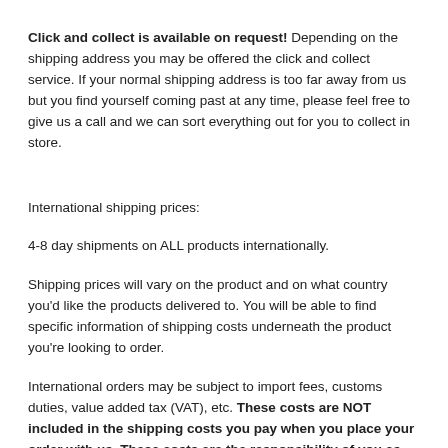Click and collect is available on request! Depending on the shipping address you may be offered the click and collect service. If your normal shipping address is too far away from us but you find yourself coming past at any time, please feel free to give us a call and we can sort everything out for you to collect in store.
International shipping prices:
4-8 day shipments on ALL products internationally.
Shipping prices will vary on the product and on what country you'd like the products delivered to. You will be able to find specific information of shipping costs underneath the product you're looking to order.
International orders may be subject to import fees, customs duties, value added tax (VAT), etc. These costs are NOT included in the shipping costs you pay when you place your order with us. These costs are the responsibility of you as the customer. Dogg cannot provide any information about these fees.